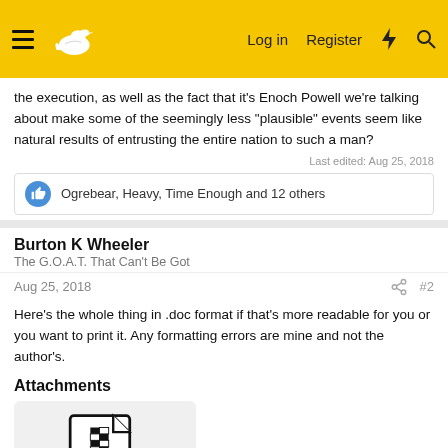Forum header with hamburger menu, bird logo, Log in, Register, lightning bolt, and search icons
the execution, as well as the fact that it's Enoch Powell we're talking about make some of the seemingly less "plausible" events seem like natural results of entrusting the entire nation to such a man?
Last edited: Aug 25, 2018
Ogrebear, Heavy, Time Enough and 12 others
Burton K Wheeler
The G.O.A.T. That Can't Be Got
Aug 25, 2018
#2
Here's the whole thing in .doc format if that's more readable for you or you want to print it. Any formatting errors are mine and not the author's.
Attachments
[Figure (illustration): ZIP/document file icon in black and white]
What if Gordon Banks ha